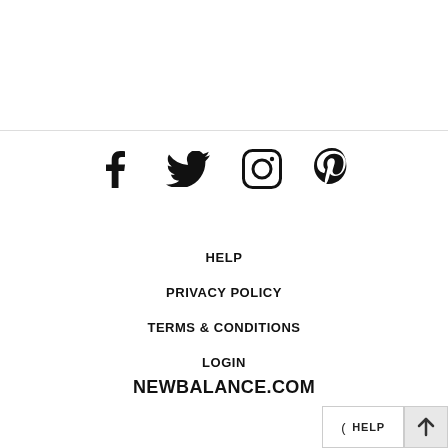[Figure (other): Social media icons row: Facebook, Twitter, Instagram, Pinterest]
HELP
PRIVACY POLICY
TERMS & CONDITIONS
LOGIN
NEWBALANCE.COM
( HELP  ↑